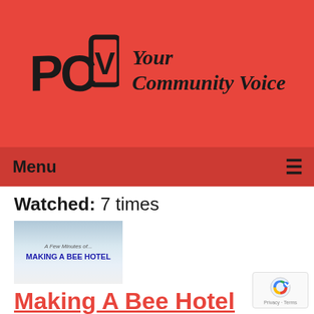[Figure (logo): PCTV logo with TV screen shape and text 'Your Community Voice' on red background]
Menu ≡
Watched: 7 times
[Figure (screenshot): Thumbnail image for 'Making A Bee Hotel' showing snowy winter scene with blue title text]
Making A Bee Hotel
Airdate: 01/02/2020
Guests: Michael Inglis